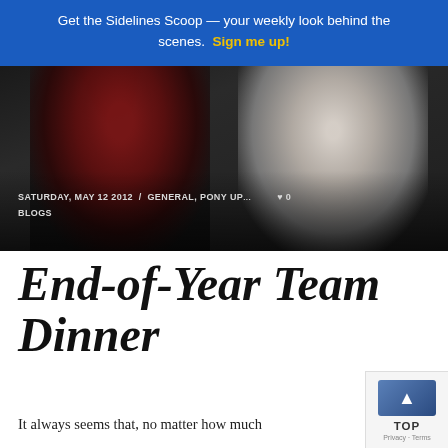Get the Sidelines Scoop — your weekly look behind the scenes. Sign me up!
[Figure (photo): Two people sitting, wearing sports apparel. Photo shows torsos and laps. Text overlay reads: SATURDAY, MAY 12 2012 / GENERAL, PONY UP... BLOGS. Heart icon visible.]
End-of-Year Team Dinner
It always seems that, no matter how much